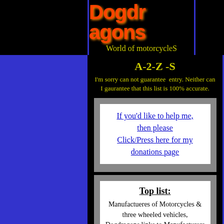[Figure (logo): Dogdragons flame logo with text 'World of motorcycleS' below]
A-2-Z -S
I'm sorry can not guarantee entry. Neither can I gaurantee that this list is 100% accurate.
If you'd like to help me, then please Click/Press here for my donations page
Top list: Manufactueres of Motorcycles & three wheeled vehicles, Dogdragons links to Manufacturers main web site.